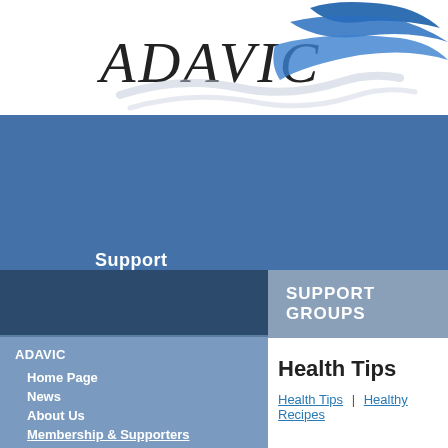[Figure (logo): ADAVIC logo with stylized bird/wave graphic in blue and white]
Support
Information
Resources
SUPPORT GROUPS
ADAVIC
Home Page
News
About Us
Membership & Supporters
Health Tips
Health Tips | Healthy Recipes